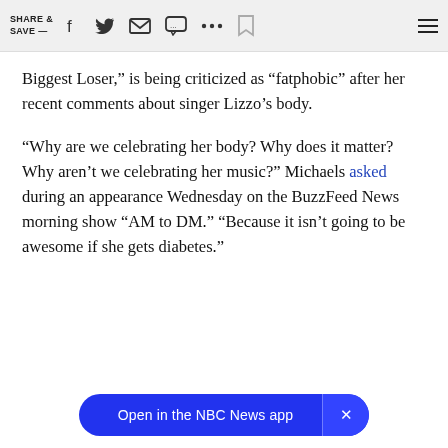SHARE & SAVE —  [social icons]
Biggest Loser," is being criticized as "fatphobic" after her recent comments about singer Lizzo's body.
“Why are we celebrating her body? Why does it matter? Why aren’t we celebrating her music?” Michaels asked during an appearance Wednesday on the BuzzFeed News morning show “AM to DM.” “Because it isn’t going to be awesome if she gets diabetes.”
Open in the NBC News app